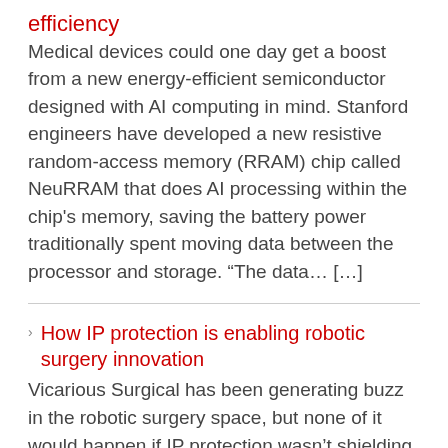efficiency
Medical devices could one day get a boost from a new energy-efficient semiconductor designed with AI computing in mind. Stanford engineers have developed a new resistive random-access memory (RRAM) chip called NeuRRAM that does AI processing within the chip's memory, saving the battery power traditionally spent moving data between the processor and storage. “The data… […]
How IP protection is enabling robotic surgery innovation
Vicarious Surgical has been generating buzz in the robotic surgery space, but none of it would happen if IP protection wasn’t shielding the value of its technology. Count Vicarious Surgical among a group of relatively young surgical robotics companies